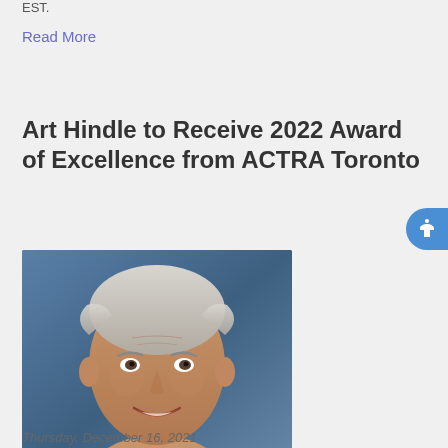EST.
Read More
Art Hindle to Receive 2022 Award of Excellence from ACTRA Toronto
[Figure (photo): Portrait photo of Art Hindle, an older man with grey-white hair, smiling, wearing a white shirt, with a blue background]
Thursday, December 16, 2021